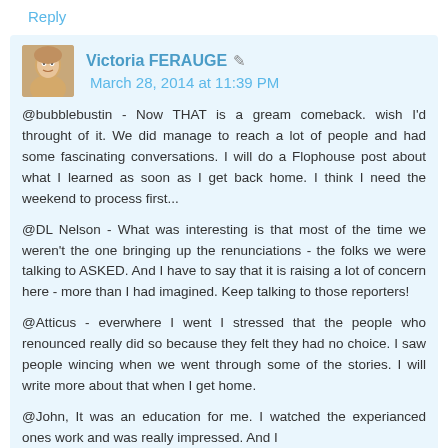Reply
Victoria FERAUGE  March 28, 2014 at 11:39 PM
@bubblebustin - Now THAT is a gream comeback. wish I'd throught of it. We did manage to reach a lot of people and had some fascinating conversations. I will do a Flophouse post about what I learned as soon as I get back home. I think I need the weekend to process first...

@DL Nelson - What was interesting is that most of the time we weren't the one bringing up the renunciations - the folks we were talking to ASKED. And I have to say that it is raising a lot of concern here - more than I had imagined. Keep talking to those reporters!

@Atticus - everwhere I went I stressed that the people who renounced really did so because they felt they had no choice. I saw people wincing when we went through some of the stories. I will write more about that when I get home.

@John, It was an education for me. I watched the experianced ones work and was really impressed. And I